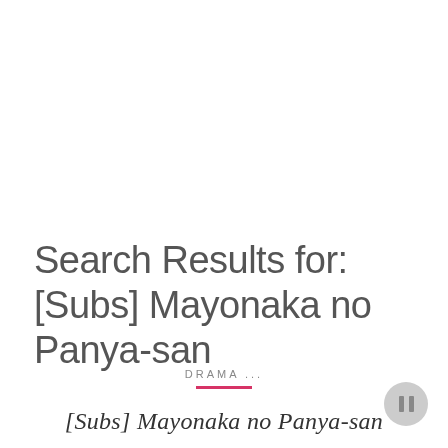Search Results for: [Subs] Mayonaka no Panya-san
DRAMA ...
[Subs] Mayonaka no Panya-san